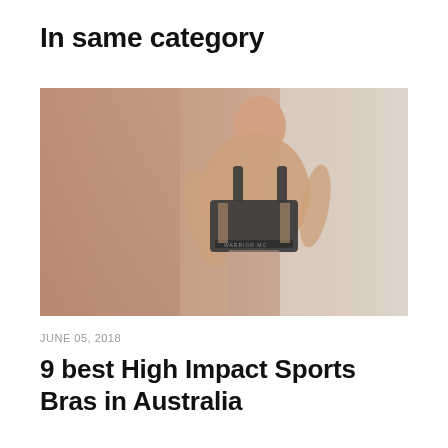In same category
[Figure (photo): Woman wearing a dark sports bra, photographed from the side/front, outdoors with rocky wall background. The bra has text on the band.]
JUNE 05, 2018
9 best High Impact Sports Bras in Australia